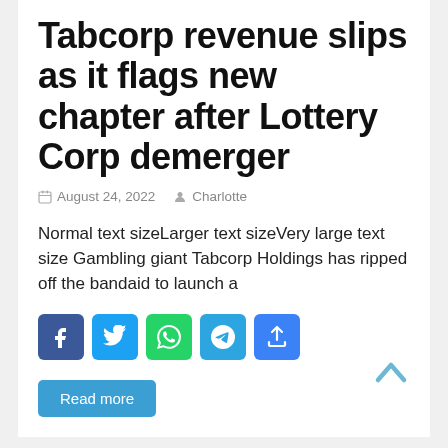Tabcorp revenue slips as it flags new chapter after Lottery Corp demerger
August 24, 2022   Charlotte
Normal text sizeLarger text sizeVery large text size Gambling giant Tabcorp Holdings has ripped off the bandaid to launch a
[Figure (other): Social share buttons: Facebook, Twitter, WhatsApp, Telegram, Share]
Read more
News
ASX defies Wall Street's